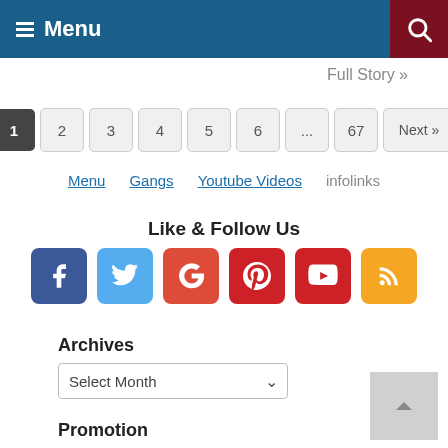Menu
Full Story »
1 2 3 4 5 6 ... 67 Next »
Menu   Gangs   Youtube Videos   infolinks
Like & Follow Us
[Figure (infographic): Social media icons: Facebook, Twitter, Google+, Pinterest, YouTube, RSS]
Archives
Select Month
Promotion